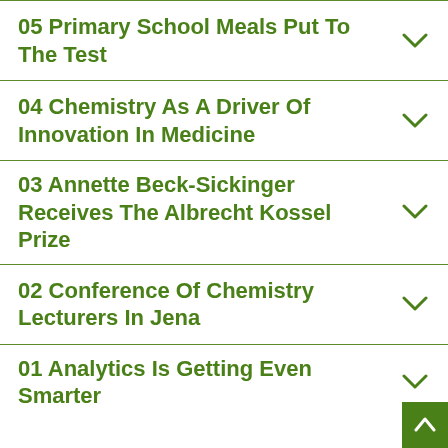05 Primary School Meals Put To The Test
04 Chemistry As A Driver Of Innovation In Medicine
03 Annette Beck-Sickinger Receives The Albrecht Kossel Prize
02 Conference Of Chemistry Lecturers In Jena
01 Analytics Is Getting Even Smarter